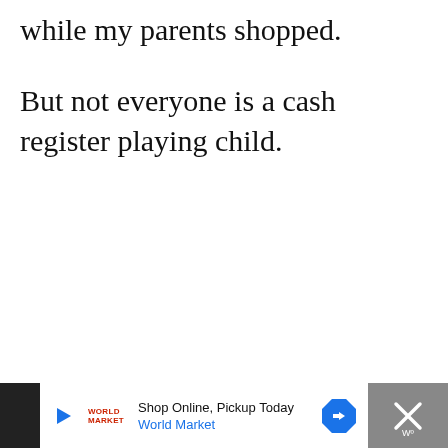while my parents shopped.
But not everyone is a cash register playing child.
Shop Online, Pickup Today World Market [advertisement]